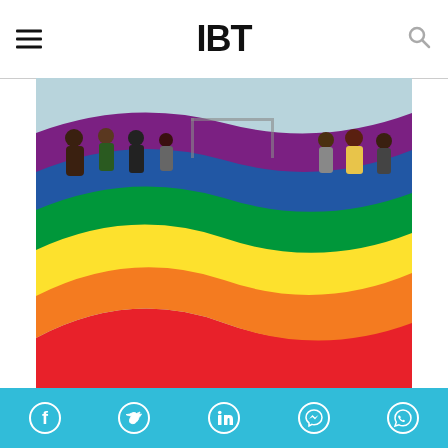IBT
[Figure (photo): People holding a large rainbow Pride flag outdoors, celebrating the Supreme Court judgment. LGBTQ supporters in Bhopal.]
LGBTQ supporters in Bhopal celebrate following the landmark judgment of the Supreme Court.   IANS
The morning of September 6 was not a usual one for Tushar. The 23-year-old had specially flown down to Delhi all the way from Bangalore for the much-awaited day. India's Supreme